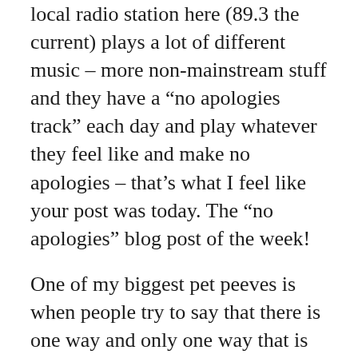local radio station here (89.3 the current) plays a lot of different music – more non-mainstream stuff and they have a “no apologies track” each day and play whatever they feel like and make no apologies – that’s what I feel like your post was today. The “no apologies” blog post of the week!
One of my biggest pet peeves is when people try to say that there is one way and only one way that is the correct way when it comes to personal finance. In this case, you could easily argue that keeping the low-interest mortgage is smart, but you could (and did) equally argue that it makes sense (for you and others) to pay down your mortgage as quickly as possible. One answer that works for me may not be the